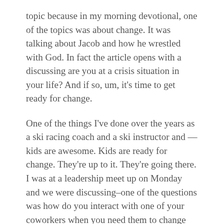topic because in my morning devotional, one of the topics was about change. It was talking about Jacob and how he wrestled with God. In fact the article opens with a discussing are you at a crisis situation in your life? And if so, um, it's time to get ready for change.
One of the things I've done over the years as a ski racing coach and a ski instructor and — kids are awesome. Kids are ready for change. They're up to it. They're going there. I was at a leadership meet up on Monday and we were discussing–one of the questions was how do you interact with one of your coworkers when you need them to change their approach? And I didn't share at that point because the presenter kind of answered the question, but